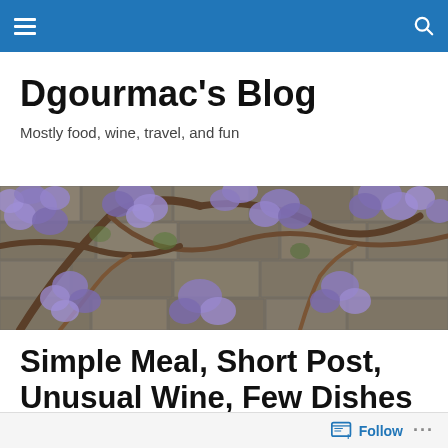Navigation bar with hamburger menu and search icon
Dgourmac's Blog
Mostly food, wine, travel, and fun
[Figure (photo): Wisteria flowers covering a stone wall with brown woody branches, purple-blue blooms filling the frame]
Simple Meal, Short Post, Unusual Wine, Few Dishes
Sometimes I take the easy route — not often, but tonight
Follow ...